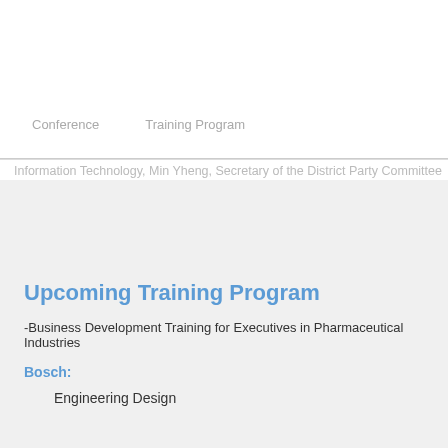Conference    Training Program
Information Technology, Min Yheng, Secretary of the District Party Committee
Upcoming Training Program
-Business Development Training for Executives in Pharmaceutical Industries
Bosch:
Engineering Design